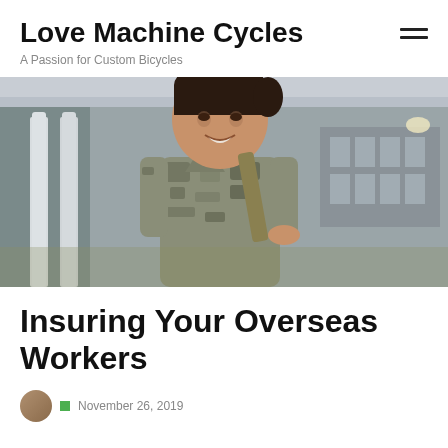Love Machine Cycles
A Passion for Custom Bicycles
[Figure (photo): A smiling woman in military camouflage uniform carrying a bag, standing in front of a house with white columns]
Insuring Your Overseas Workers
November 26, 2019